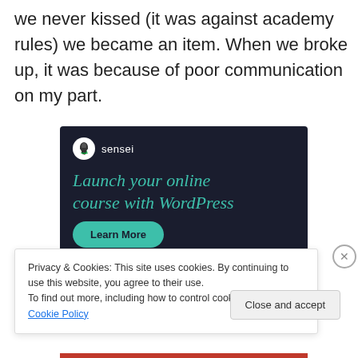we never kissed (it was against academy rules) we became an item. When we broke up, it was because of poor communication on my part.
[Figure (illustration): Sensei advertisement banner on dark navy background. Shows Sensei logo (tree icon in white circle) and text 'sensei', headline 'Launch your online course with WordPress' in teal/green serif italic font, and a teal 'Learn More' rounded button.]
Privacy & Cookies: This site uses cookies. By continuing to use this website, you agree to their use.
To find out more, including how to control cookies, see here: Cookie Policy
Close and accept